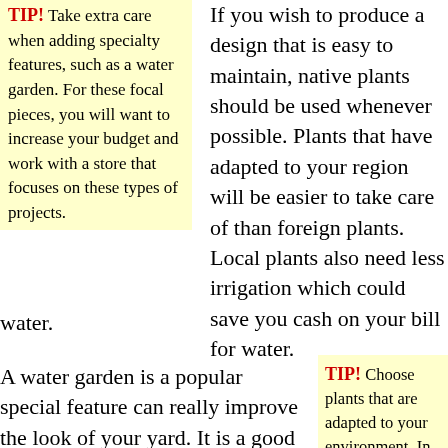TIP! Take extra care when adding specialty features, such as a water garden. For these focal pieces, you will want to increase your budget and work with a store that focuses on these types of projects.
If you wish to produce a design that is easy to maintain, native plants should be used whenever possible. Plants that have adapted to your region will be easier to take care of than foreign plants. Local plants also need less irrigation which could save you cash on your bill for water.
A water garden is a popular special feature can really improve the look of your yard. It is a good idea to
TIP! Choose plants that are adapted to your environment. In